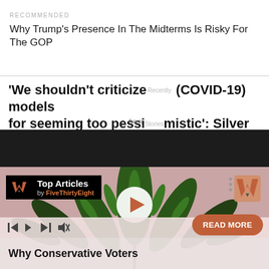RECOMMENDED
Why Trump's Presence In The Midterms Is Risky For The GOP
'We shouldn’t criticize early (COVID-19) models for seeming too pessimistic': Silver
Recently
Stories
from
[Figure (screenshot): Dark band separator between recommended section and cannabis plant image below]
[Figure (photo): Cannabis plant leaves on pinkish-beige background with Top Articles badge by FiveThirtyEight, play button overlay, media controls, READ MORE button, and bottom title 'Why Conservative Voters']